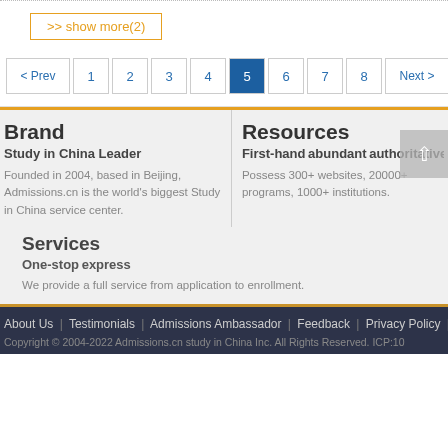>> show more(2)
< Prev 1 2 3 4 5 6 7 8 Next >
Brand
Study in China Leader
Founded in 2004, based in Beijing, Admissions.cn is the world's biggest Study in China service center.
Resources
First-hand　abundant　authoritativ
Possess 300+ websites, 20000+ programs, 1000+ institutions.
Services
One-stop　express
We provide a full service from application to enrollment.
About Us | Testimonials | Admissions Ambassador | Feedback | Privacy Policy | Te
Copyright © 2004-2022 Admissions.cn study in China Inc. All Rights Reserved. ICP:10